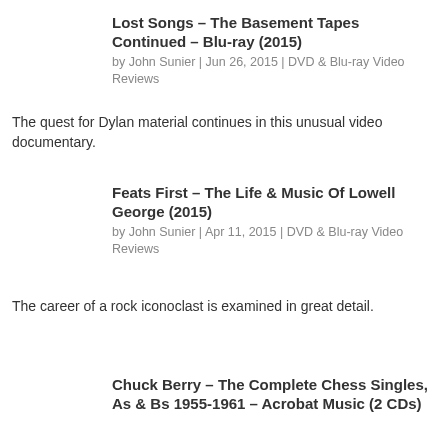Lost Songs – The Basement Tapes Continued – Blu-ray (2015)
by John Sunier | Jun 26, 2015 | DVD & Blu-ray Video Reviews
The quest for Dylan material continues in this unusual video documentary.
Feats First – The Life & Music Of Lowell George (2015)
by John Sunier | Apr 11, 2015 | DVD & Blu-ray Video Reviews
The career of a rock iconoclast is examined in great detail.
Chuck Berry – The Complete Chess Singles, As & Bs 1955-1961 – Acrobat Music (2 CDs)